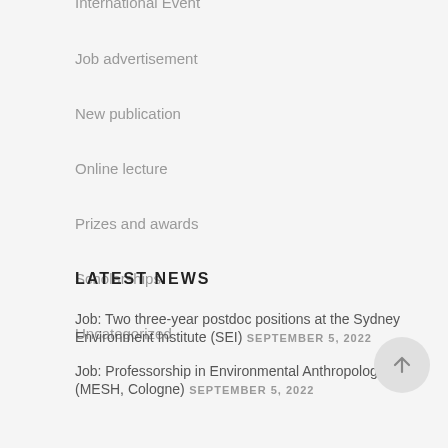International Event
Job advertisement
New publication
Online lecture
Prizes and awards
Scholarships
Uncategorized
LATEST NEWS
Job: Two three-year postdoc positions at the Sydney Environment Institute (SEI) SEPTEMBER 5, 2022
Job: Professorship in Environmental Anthropology (MESH, Cologne) SEPTEMBER 5, 2022